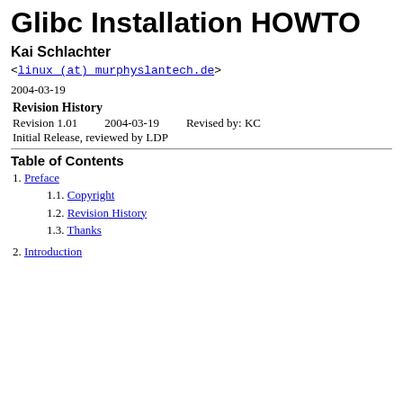Glibc Installation HOWTO
Kai Schlachter
<linux (at) murphyslantech.de>
2004-03-19
| Revision History |  |  |
| --- | --- | --- |
| Revision 1.01 | 2004-03-19 | Revised by: KC |
| Initial Release, reviewed by LDP |  |  |
Table of Contents
1. Preface
1.1. Copyright
1.2. Revision History
1.3. Thanks
2. Introduction